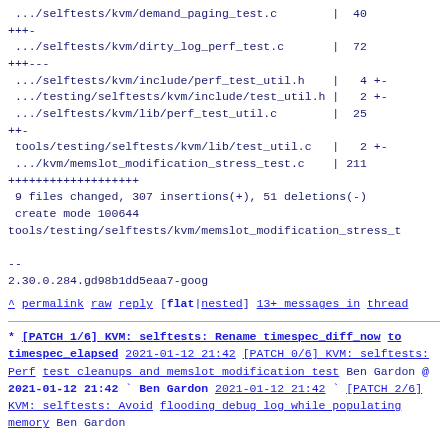.../selftests/kvm/demand_paging_test.c        |  40
+++- 
 .../selftests/kvm/dirty_log_perf_test.c       |  72
+++---
 .../selftests/kvm/include/perf_test_util.h    |   4 +-
 .../testing/selftests/kvm/include/test_util.h |   2 +-
 .../selftests/kvm/lib/perf_test_util.c        |  25
++-
 tools/testing/selftests/kvm/lib/test_util.c   |   2 +-
 .../kvm/memslot_modification_stress_test.c    | 211
+++++++++++++++++++
 9 files changed, 307 insertions(+), 51 deletions(-)
 create mode 100644
tools/testing/selftests/kvm/memslot_modification_stress_t

--
2.30.0.284.gd98b1dd5eaa7-goog
^ permalink raw reply  [flat|nested] 13+ messages in thread
* [PATCH 1/6] KVM: selftests: Rename timespec_diff_now to timespec_elapsed
  2021-01-12 21:42 [PATCH 0/6] KVM: selftests: Perf test cleanups and memslot modification test Ben Gardon
@ 2021-01-12 21:42 ` Ben Gardon
  2021-01-12 21:42 ` [PATCH 2/6] KVM: selftests: Avoid flooding debug log while populating memory Ben Gardon